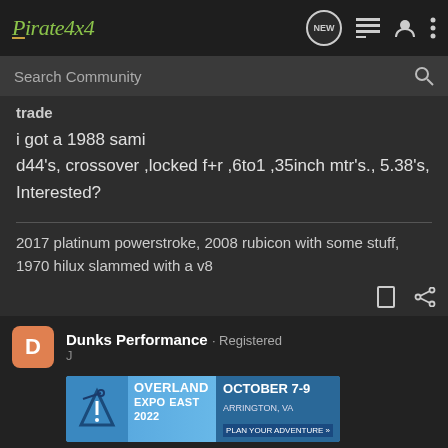Pirate4x4
Search Community
trade
i got a 1988 sami
d44's, crossover ,locked f+r ,6to1 ,35inch mtr's., 5.38's, Interested?
2017 platinum powerstroke, 2008 rubicon with some stuff, 1970 hilux slammed with a v8
Dunks Performance · Registered
[Figure (screenshot): Overland Expo East 2022 advertisement banner - October 7-9, Arrington, VA, Plan Your Adventure]